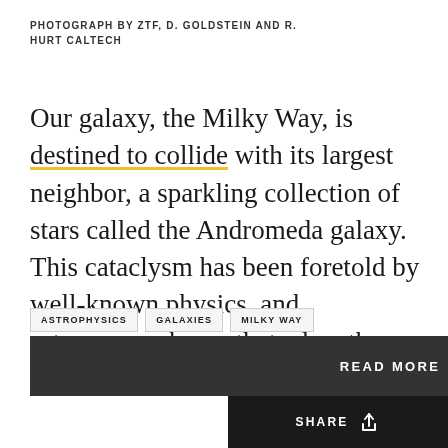PHOTOGRAPH BY ZTF, D. GOLDSTEIN AND R. HURT CALTECH
Our galaxy, the Milky Way, is destined to collide with its largest neighbor, a sparkling collection of stars called the Andromeda galaxy. This cataclysm has been foretold by well-known physics, and astronomers know that when the space dust clears,
ASTROPHYSICS
GALAXIES
MILKY WAY
PLANET EARTH
SPACE
STARSTRUCK
STARS
PLANETS
SCIENCE
MORE
READ MORE
SHARE